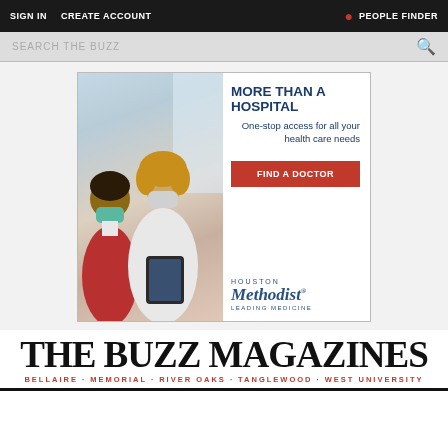SIGN IN  CREATE ACCOUNT  PEOPLE FINDER
[Figure (screenshot): Search bar with placeholder text 'SEARCH THE BUZZ' and a search icon on the right]
[Figure (infographic): Houston Methodist hospital advertisement: 'MORE THAN A HOSPITAL - One-stop access for all your health care needs' with a FIND A DOCTOR button and Houston Methodist Leading Medicine logo. Two masked women (patient and doctor) visible on left side.]
THE BUZZ MAGAZINES
BELLAIRE · MEMORIAL · RIVER OAKS · TANGLEWOOD · WEST UNIVERSITY